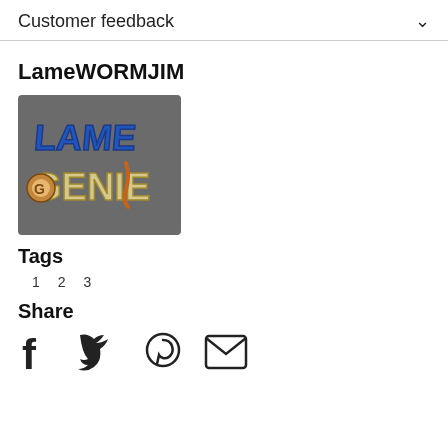Customer feedback
LameWORMJIM
[Figure (logo): LameGenie logo on dark grey background with stylized blue 'LAME' text and cream/orange 'GENIE' text with worm character]
Tags
1  2  3
Share
[Figure (infographic): Share icons: Facebook, Twitter, Pinterest, Email]